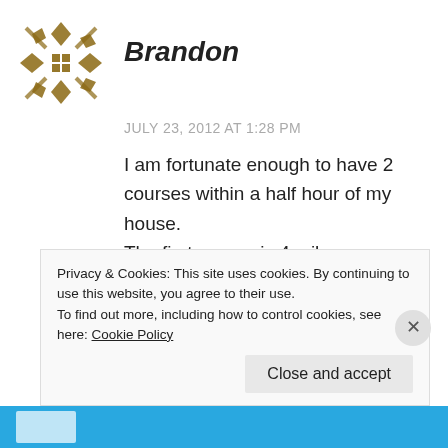[Figure (illustration): Decorative avatar icon with brown geometric/diamond pattern on white background]
Brandon
JULY 23, 2012 AT 1:28 PM
I am fortunate enough to have 2 courses within a half hour of my house. The first course is 4 miles away from my house. Up until a few months ago the course wasn't very good.. wide open overlapping fairways, playing across a playground and other issues. Back in may our local disc golf club got together and came up with a new design, gathered a
Privacy & Cookies: This site uses cookies. By continuing to use this website, you agree to their use.
To find out more, including how to control cookies, see here: Cookie Policy
Close and accept